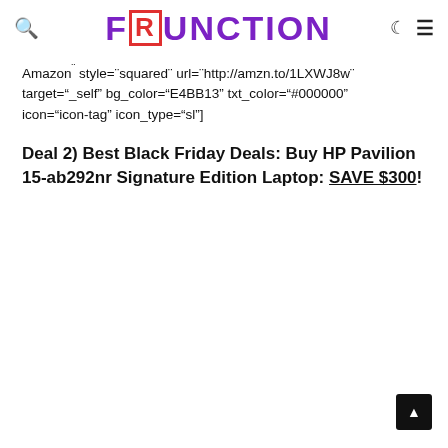FRUNCTION
Amazon¨ style=¨squared¨ url=¨http://amzn.to/1LXWJ8w¨ target="_self" bg_color="E4BB13" txt_color="#000000" icon="icon-tag" icon_type="sl"]
Deal 2) Best Black Friday Deals: Buy HP Pavilion 15-ab292nr Signature Edition Laptop: SAVE $300!